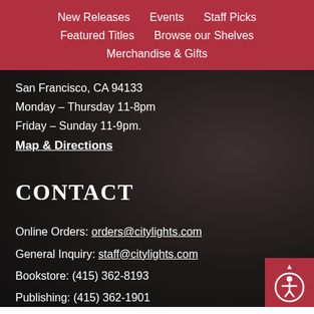New Releases | Events | Staff Picks | Featured Titles | Browse our Shelves | Merchandise & Gifts
San Francisco, CA 94133
Monday – Thursday 11-8pm
Friday – Sunday 11-9pm.
Map & Directions
CONTACT
Online Orders: orders@citylights.com
General Inquiry: staff@citylights.com
Bookstore: (415) 362-8193
Publishing: (415) 362-1901